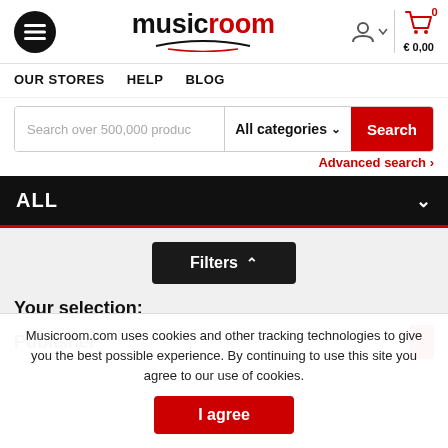[Figure (screenshot): Musicroom website header with hamburger menu icon (black circle), musicroom logo in black and red, user account icon, and shopping cart icon showing 0 items and €0,00]
OUR STORES   HELP   BLOG
Search over 500,000 products   All categories ∨   Search
Advanced search ›
ALL
Filters ^
Your selection:
Publisher
Musicroom.com uses cookies and other tracking technologies to give you the best possible experience. By continuing to use this site you agree to our use of cookies.
I agree